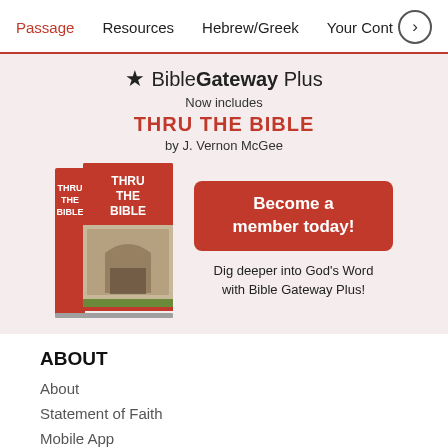Passage  Resources  Hebrew/Greek  Your Cont >
[Figure (screenshot): BibleGateway Plus promotional banner featuring Thru the Bible by J. Vernon McGee, with book image and 'Become a member today!' button]
ABOUT
About
Statement of Faith
Mobile App